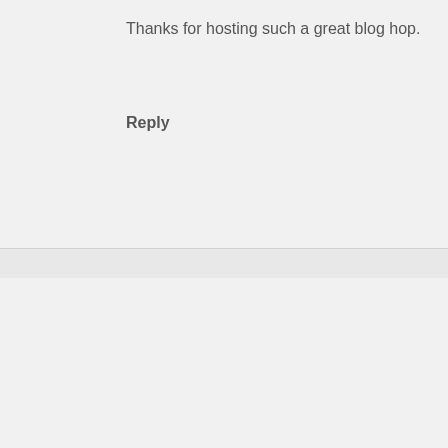Thanks for hosting such a great blog hop.
Reply
Dogs N Pawz says
July 18, 2013 at 10:10 pm
[Figure (photo): Avatar photo of a dog, blue-toned outdoor background]
Great post! It breaks my heart to see all the dogs and cats that need homes. Every little bit helps even though I wish it helped more.

I have an award for you. You can check it out at http://dogsnpawz.com/this-n-that-thursday-catching-up.html